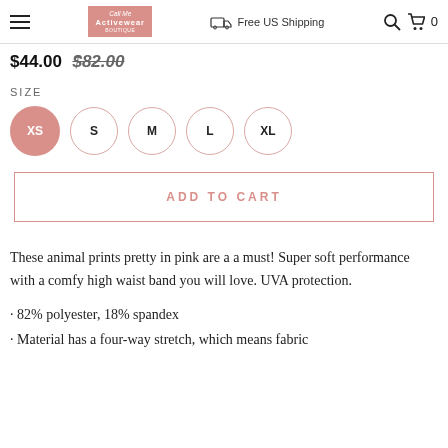Free US Shipping | Cart 0
$44.00  $82.00
SIZE
XS  S  M  L  XL
ADD TO CART
These animal prints pretty in pink are a a must! Super soft performance with a comfy high waist band you will love. UVA protection.
· 82% polyester, 18% spandex
· Material has a four-way stretch, which means fabric